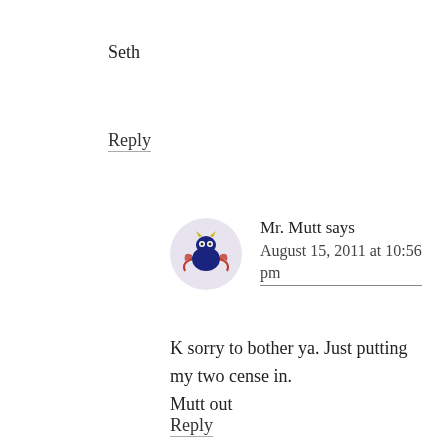Seth
Reply
[Figure (illustration): Round avatar with cartoon monster/creature illustration — blue body with eyes, horns, and decorative elements on a light purple/lavender background]
Mr. Mutt says August 15, 2011 at 10:56 pm
K sorry to bother ya. Just putting my two cense in.
Mutt out
Reply